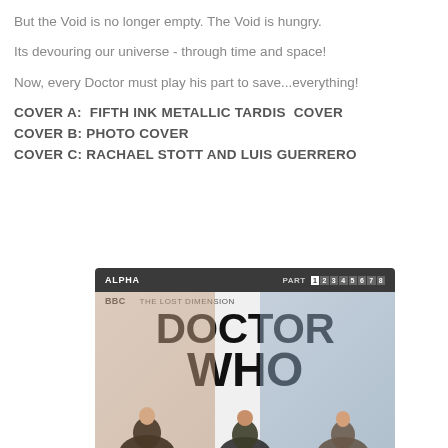But the Void is no longer empty. The Void is hungry.
Its devouring our universe - through time and space!
Now, every Doctor must play his part to save...everything!
COVER A:  FIFTH INK METALLIC TARDIS  COVER
COVER B: PHOTO COVER
COVER C: RACHAEL STOTT AND LUIS GUERRERO
[Figure (illustration): Doctor Who comic book cover — Alpha issue, part of 'The Lost Dimension' series. Shows the BBC Doctor Who logo in large bold black text with three Doctor characters in the foreground against a colorful background.]